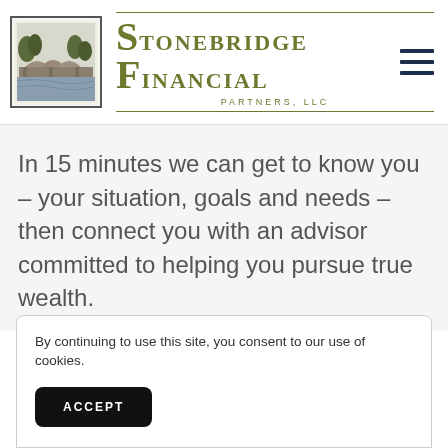[Figure (logo): Stonebridge Financial Partners LLC logo with a stone bridge illustration and stylized SF letterform]
In 15 minutes we can get to know you – your situation, goals and needs – then connect you with an advisor committed to helping you pursue true wealth.
By continuing to use this site, you consent to our use of cookies.